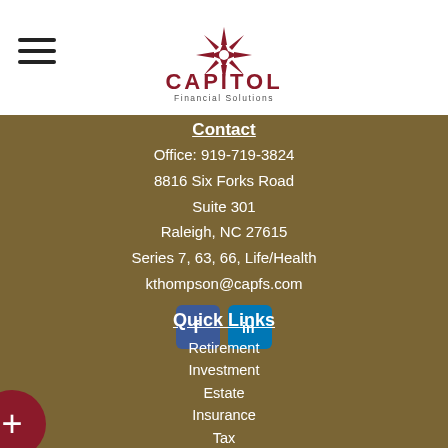[Figure (logo): Capitol Financial Solutions logo with star/compass icon and company name]
Contact
Office: 919-719-3824
8816 Six Forks Road
Suite 301
Raleigh, NC 27615
Series 7, 63, 66, Life/Health
kthompson@capfs.com
[Figure (other): Facebook and LinkedIn social media icon buttons]
Quick Links
Retirement
Investment
Estate
Insurance
Tax
Money
Lifestyle
All Articles